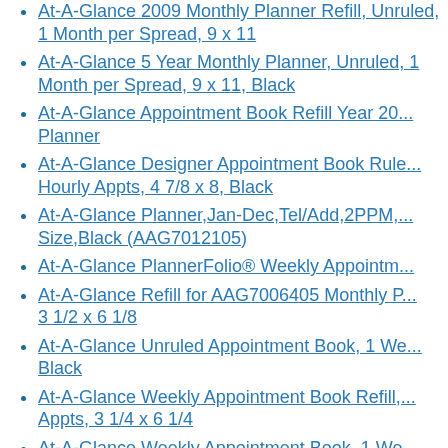At-A-Glance 2009 Monthly Planner Refill, Unruled, 1 Month per Spread, 9 x 11
At-A-Glance 5 Year Monthly Planner, Unruled, 1 Month per Spread, 9 x 11, Black
At-A-Glance Appointment Book Refill Year 20... Planner
At-A-Glance Designer Appointment Book Rule... Hourly Appts, 4 7/8 x 8, Black
At-A-Glance Planner,Jan-Dec,Tel/Add,2PPM,... Size,Black (AAG7012105)
At-A-Glance PlannerFolio® Weekly Appointment...
At-A-Glance Refill for AAG7006405 Monthly P... 3 1/2 x 6 1/8
At-A-Glance Unruled Appointment Book, 1 We... Black
At-A-Glance Weekly Appointment Book Refill,... Appts, 3 1/4 x 6 1/4
At-A-Glance Weekly Appointment Book, 1 We... Black
At-A-Glance Weekly Appointment Book, 1 We... 6 7/8 x 8 3/4, Black
At-A-Glance Weekly Appointment Book, One ...